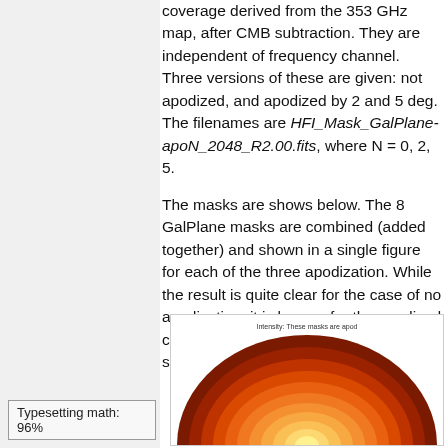coverage derived from the 353 GHz map, after CMB subtraction. They are independent of frequency channel. Three versions of these are given: not apodized, and apodized by 2 and 5 deg. The filenames are HFI_Mask_GalPlane-apoN_2048_R2.00.fits, where N = 0, 2, 5.
The masks are shows below. The 8 GalPlane masks are combined (added together) and shown in a single figure for each of the three apodization. While the result is quite clear for the case of no apodization, it is less so for the apodized case. The point source masks are shown separately for the Intensity case.
[Figure (other): Partial view of a Mollweide/Galactic plane mask visualization showing concentric color bands (red, orange, yellow tones) representing combined GalPlane masks.]
Typesetting math: 96%